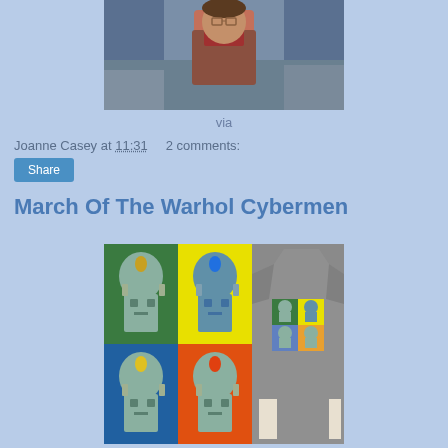[Figure (photo): A young person wearing a plaid jacket with red collar, standing outdoors with rocky background]
via
Joanne Casey at 11:31   2 comments:
Share
March Of The Warhol Cybermen
[Figure (illustration): Warhol-style pop art illustration of Cybermen in multiple colorful panels on the left, and a gray t-shirt featuring a 4-panel Cyberman design on the right]